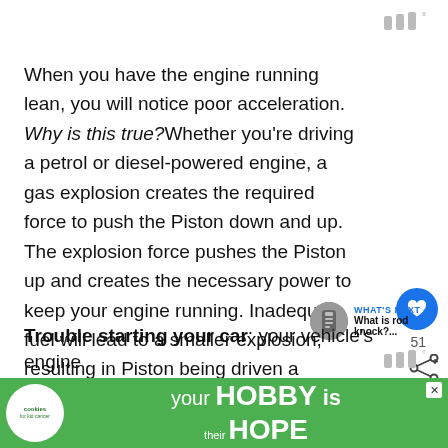|||°
When you have the engine running lean, you will notice poor acceleration. Why is this true? Whether you're driving a petrol or diesel-powered engine, a gas explosion creates the required force to push the Piston down and up. The explosion force pushes the Piston up and creates the necessary power to keep your engine running. Inadequate fuel will lead to a smaller explosion, resulting in Piston being driven a slower speed.
Trouble starting your car: your vehicle's engine re... al... to st...
[Figure (infographic): Advertisement banner: cookies for kid cancer / your HOBBY is their HOPE]
|||°